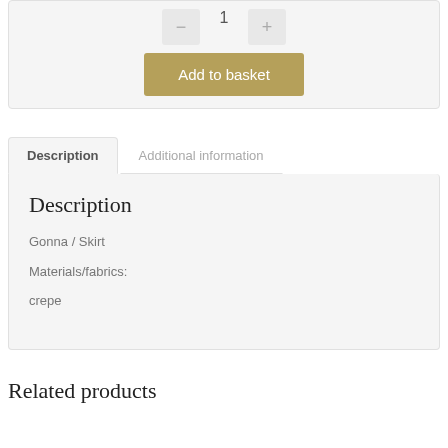[Figure (screenshot): E-commerce product page section showing quantity selector with minus, 1, plus buttons and an 'Add to basket' button in olive/gold color]
Description
Additional information
Description
Gonna / Skirt
Materials/fabrics:
crepe
Related products